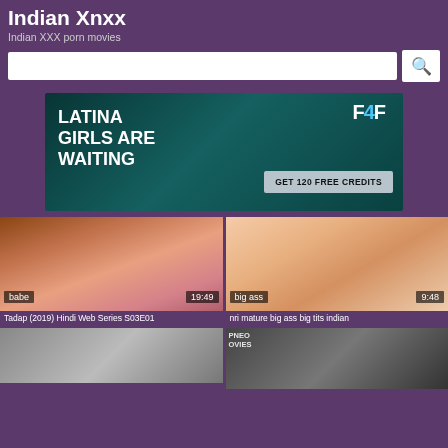Indian Xnxx
Indian XXX porn movies
[Figure (screenshot): Search bar with input field and magnifying glass search button on purple background]
[Figure (screenshot): Advertisement banner: LATINA Girls are WAITING, F4F logo, GET 120 FREE CREDITS button]
[Figure (screenshot): Video thumbnail left: babe tag, 19:49 duration]
Tadap (2019) Hindi Web Series S03E01
[Figure (screenshot): Video thumbnail right: big ass tag, 9:48 duration]
nri mature big ass big tits indian
[Figure (screenshot): Partial video thumbnails at bottom, partially visible]